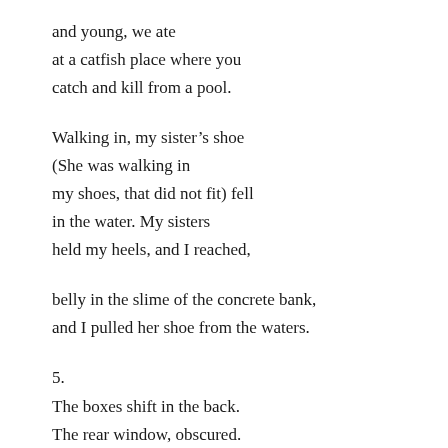and young, we ate
at a catfish place where you
catch and kill from a pool.

Walking in, my sister’s shoe
(She was walking in
my shoes, that did not fit) fell
in the water. My sisters
held my heels, and I reached,

belly in the slime of the concrete bank,
and I pulled her shoe from the waters.

5.
The boxes shift in the back.
The rear window, obscured.